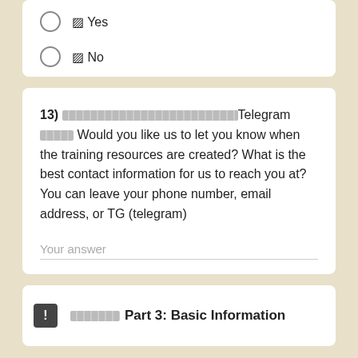Yes
No
13) [redacted]Telegram [redacted] Would you like us to let you know when the training resources are created? What is the best contact information for us to reach you at? You can leave your phone number, email address, or TG (telegram)
Your answer
[redacted] Part 3: Basic Information